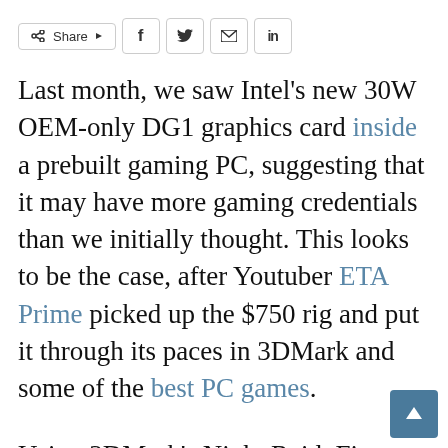[Figure (infographic): Social share bar with Share button, Facebook, Twitter, email, and LinkedIn icons]
Last month, we saw Intel's new 30W OEM-only DG1 graphics card inside a prebuilt gaming PC, suggesting that it may have more gaming credentials than we initially thought. This looks to be the case, after Youtuber ETA Prime picked up the $750 rig and put it through its paces in 3DMark and some of the best PC games.
Using 3DMark's Night Raid, Fire Strike, and Time Spy benchmarks, the DG1 achieved graphics scores of 21,313, 5,837, and 1,630 respectively. That's close to the performance of